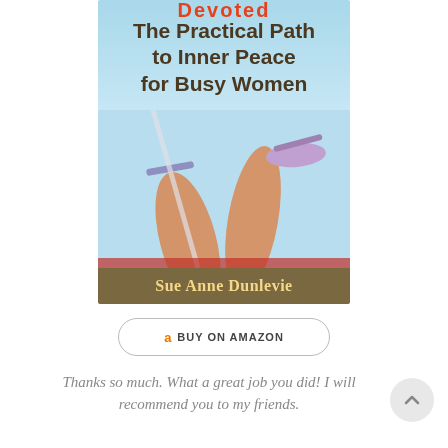[Figure (illustration): Book cover for 'The Practical Path to Inner Peace for Busy Women' by Sue Anne Dunlevie. Shows partial red text at top (title clipped), main subtitle in dark brown bold text, a photo of legs relaxing with sandals against a blue sky background, and an author name bar at the bottom in a tan/brown band with gold text.]
a BUY ON AMAZON
Thanks so much. What a great job you did! I will recommend you to my friends.